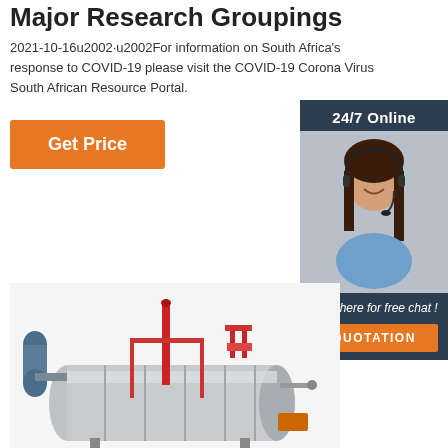Major Research Groupings
2021-10-16u2002·u2002For information on South Africa's response to COVID-19 please visit the COVID-19 Corona Virus South African Resource Portal.
Get Price
[Figure (photo): 24/7 Online support widget with a smiling woman wearing a headset, dark header '24/7 Online', dark footer with italic text 'Click here for free chat!' and orange QUOTATION button]
[Figure (photo): Industrial boiler machine — silver cylindrical tank with red piping, blue cylinder attachment, and valves on a white background]